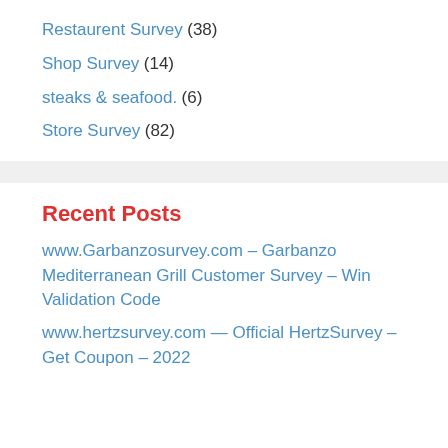Restaurent Survey (38)
Shop Survey (14)
steaks & seafood. (6)
Store Survey (82)
Recent Posts
www.Garbanzosurvey.com – Garbanzo Mediterranean Grill Customer Survey – Win Validation Code
www.hertzsurvey.com — Official HertzSurvey – Get Coupon – 2022